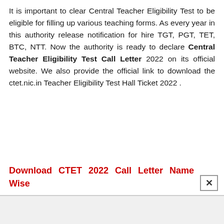It is important to clear Central Teacher Eligibility Test to be eligible for filling up various teaching forms. As every year in this authority release notification for hire TGT, PGT, TET, BTC, NTT. Now the authority is ready to declare Central Teacher Eligibility Test Call Letter 2022 on its official website. We also provide the official link to download the ctet.nic.in Teacher Eligibility Test Hall Ticket 2022 .
Download CTET 2022 Call Letter Name Wise